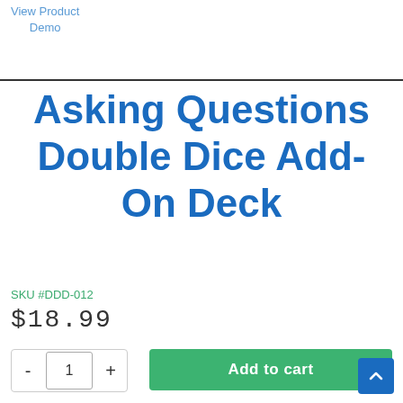View Product
Demo
Asking Questions Double Dice Add-On Deck
SKU #DDD-012
$18.99
- 1 + Add to cart